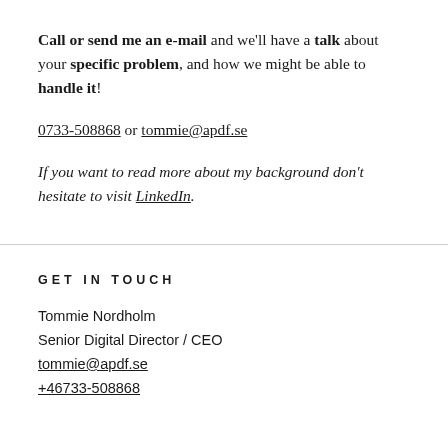Call or send me an e-mail and we'll have a talk about your specific problem, and how we might be able to handle it!
0733-508868 or tommie@apdf.se
If you want to read more about my background don't hesitate to visit LinkedIn.
GET IN TOUCH
Tommie Nordholm
Senior Digital Director / CEO
tommie@apdf.se
+46733-508868